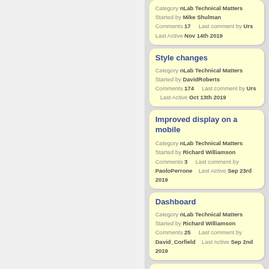Style changes
Category nLab Technical Matters
Started by DavidRoberts
Comments 174   Last comment by Urs  Last Active Oct 13th 2019
Improved display on a mobile
Category nLab Technical Matters
Started by Richard Williamson
Comments 3   Last comment by PaoloPerrone  Last Active Sep 23rd 2019
Dashboard
Category nLab Technical Matters
Started by Richard Williamson
Comments 25   Last comment by David_Corfield  Last Active Sep 2nd 2019
Edits not appearing